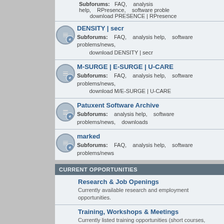Subforums: FAQ, analysis help, RPresence, software problems/news, download PRESENCE | RPresence
DENSITY | secr
Subforums: FAQ, analysis help, software problems/news, download DENSITY | secr
M-SURGE | E-SURGE | U-CARE
Subforums: FAQ, analysis help, software problems/news, download M/E-SURGE | U-CARE
Patuxent Software Archive
Subforums: analysis help, software problems/news, downloads
marked
Subforums: FAQ, analysis help, software problems/news
CURRENT OPPORTUNITIES
Research & Job Openings
Currently available research and employment opportunities.
Training, Workshops & Meetings
Currently listed training opportunities (short courses, workshops, meetings) software neutral.
FORUM HELP
forum FAQ, tips & tricks
About this forum...FAQ, and various tips and tricks to make using the forum easier and more effective